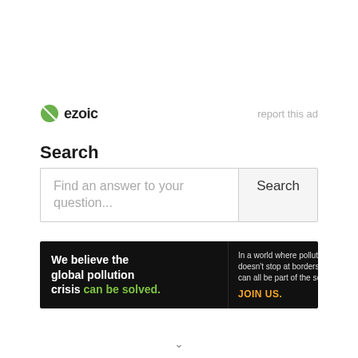[Figure (logo): Ezoic logo with green circle icon and bold 'ezoic' text, plus 'report this ad' link on the right]
Search
[Figure (screenshot): Search box with placeholder text 'Find an answer to your question...' and a Search button]
[Figure (infographic): Pure Earth advertisement banner: black left section with 'We believe the global pollution crisis can be solved.' text and right section with Pure Earth logo and 'JOIN US.' call to action]